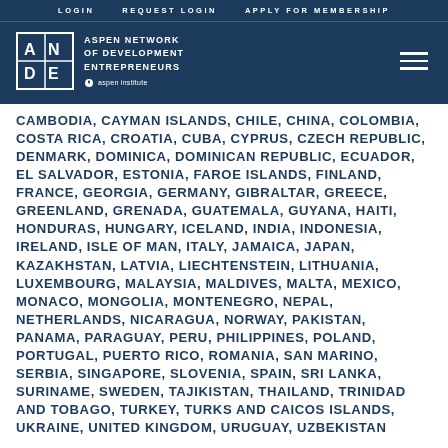LOGIN   REQUEST LOGIN   APPLY FOR MEMBERSHIP
[Figure (logo): ANDE – Aspen Network of Development Entrepreneurs logo with Aspen Institute branding]
CAMBODIA, CAYMAN ISLANDS, CHILE, CHINA, COLOMBIA, COSTA RICA, CROATIA, CUBA, CYPRUS, CZECH REPUBLIC, DENMARK, DOMINICA, DOMINICAN REPUBLIC, ECUADOR, EL SALVADOR, ESTONIA, FAROE ISLANDS, FINLAND, FRANCE, GEORGIA, GERMANY, GIBRALTAR, GREECE, GREENLAND, GRENADA, GUATEMALA, GUYANA, HAITI, HONDURAS, HUNGARY, ICELAND, INDIA, INDONESIA, IRELAND, ISLE OF MAN, ITALY, JAMAICA, JAPAN, KAZAKHSTAN, LATVIA, LIECHTENSTEIN, LITHUANIA, LUXEMBOURG, MALAYSIA, MALDIVES, MALTA, MEXICO, MONACO, MONGOLIA, MONTENEGRO, NEPAL, NETHERLANDS, NICARAGUA, NORWAY, PAKISTAN, PANAMA, PARAGUAY, PERU, PHILIPPINES, POLAND, PORTUGAL, PUERTO RICO, ROMANIA, SAN MARINO, SERBIA, SINGAPORE, SLOVENIA, SPAIN, SRI LANKA, SURINAME, SWEDEN, TAJIKISTAN, THAILAND, TRINIDAD AND TOBAGO, TURKEY, TURKS AND CAICOS ISLANDS, UKRAINE, UNITED KINGDOM, URUGUAY, UZBEKISTAN